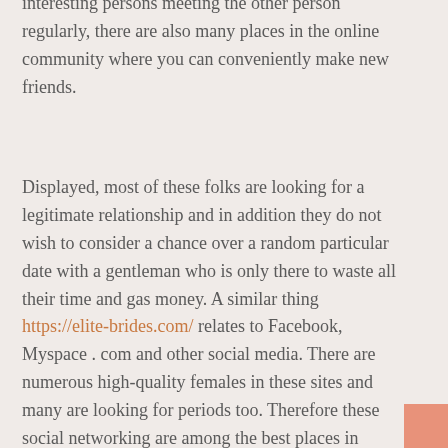interesting persons meeting the other person regularly, there are also many places in the online community where you can conveniently make new friends.
Displayed, most of these folks are looking for a legitimate relationship and in addition they do not wish to consider a chance over a random particular date with a gentleman who is only there to waste all their time and gas money. A similar thing https://elite-brides.com/ relates to Facebook, Myspace . com and other social media. There are numerous high-quality females in these sites and many are looking for periods too. Therefore these social networking are among the best places in order to meet new